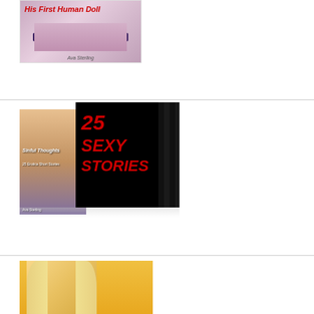[Figure (illustration): Book cover for 'His First Human Doll' by Ava Sterling, showing legs in stockings on a light purple/pink background]
[Figure (illustration): 3D box set cover for 'Sinful Thoughts: 25 Erotica Short Stories' by Ava Sterling, showing a woman in red bra on the spine and '25 Sexy Stories' text in red on black on the front face]
[Figure (illustration): Book cover showing a blonde woman against a yellow background, partially visible (cropped)]